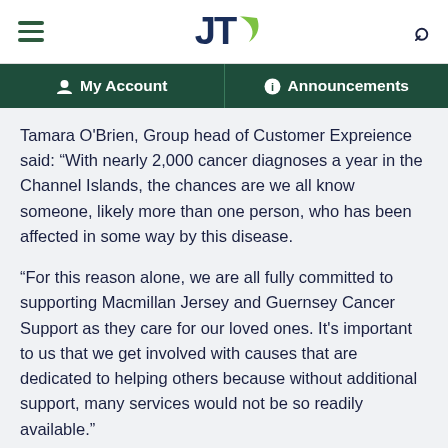JT — My Account | Announcements
Tamara O'Brien, Group head of Customer Expreience said: “With nearly 2,000 cancer diagnoses a year in the Channel Islands, the chances are we all know someone, likely more than one person, who has been affected in some way by this disease.
“For this reason alone, we are all fully committed to supporting Macmillan Jersey and Guernsey Cancer Support as they care for our loved ones. It’s important to us that we get involved with causes that are dedicated to helping others because without additional support, many services would not be so readily available.”
Helping local charities and initiatives is embedded into JT’s